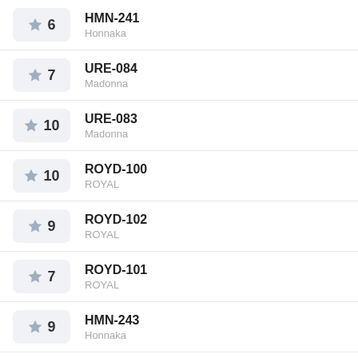6 HMN-241 Honnaka
7 URE-084 Madonna
10 URE-083 Madonna
10 ROYD-100 ROYAL
9 ROYD-102 ROYAL
7 ROYD-101 ROYAL
9 HMN-243 Honnaka
10 HMN-242 Honnaka